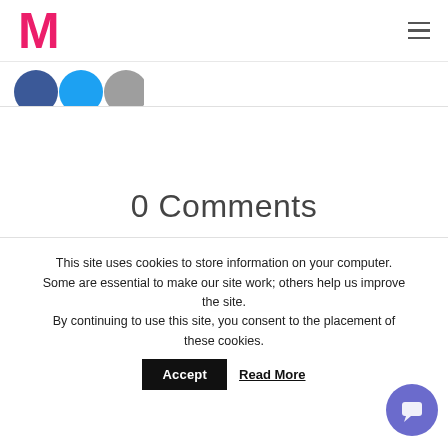M (logo) | hamburger menu
[Figure (illustration): Three social media icon circles: Facebook (dark blue), Twitter (light blue), and a grey circle, partially cropped at top]
0 Comments
This site uses cookies to store information on your computer. Some are essential to make our site work; others help us improve the site. By continuing to use this site, you consent to the placement of these cookies.
Accept
Read More